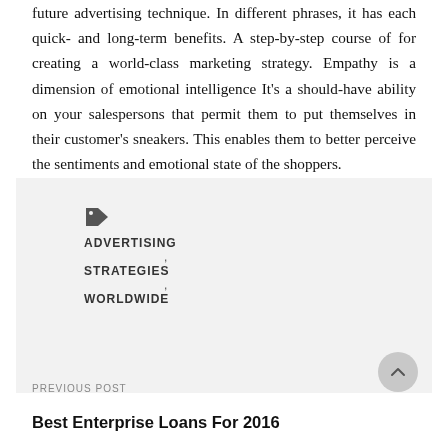future advertising technique. In different phrases, it has each quick- and long-term benefits. A step-by-step course of for creating a world-class marketing strategy. Empathy is a dimension of emotional intelligence It's a should-have ability on your salespersons that permit them to put themselves in their customer's sneakers. This enables them to better perceive the sentiments and emotional state of the shoppers.
[Figure (other): Tag icon with labels: ADVERTISING, STRATEGIES, WORLDWIDE listed vertically with commas between them on a light grey background]
PREVIOUS POST
Best Enterprise Loans For 2016